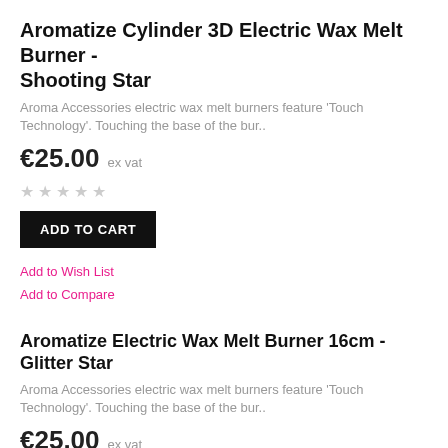Aromatize Cylinder 3D Electric Wax Melt Burner - Shooting Star
Aroma Accessories electric wax melt burners feature 'Touch Technology'. Touching the base of the bur..
€25.00 ex vat
★ ★ ★ ★ ★
ADD TO CART
Add to Wish List
Add to Compare
Aromatize Electric Wax Melt Burner 16cm - Glitter Star
Aroma Accessories electric wax melt burners feature 'Touch Technology'. Touching the base of the bur..
€25.00 ex vat
★ ★ ★ ★ ★
ADD TO CART
Add to Wish List